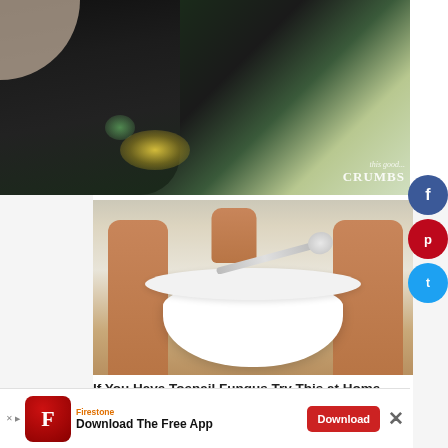[Figure (photo): Close-up photo of a hand holding a dark spray bottle with yellow particles/mist coming out, watermark reads 'Breadth CRUMBS' in bottom right corner]
[Figure (photo): Person sitting with bare feet on a wood floor next to a white bowl, holding a spoon with white powder over the bowl]
If You Have Toenail Fungus Try This at Home (It's Genius!)
[Figure (other): Advertisement banner: Firestone - Download The Free App - Download button, with close X button]